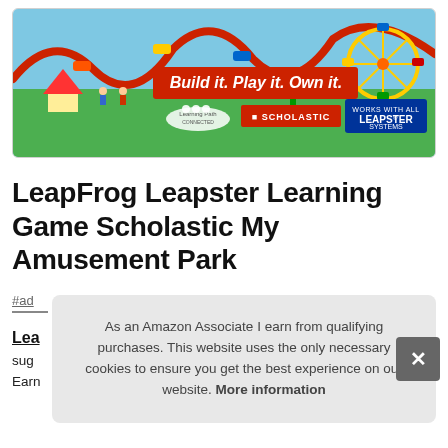[Figure (illustration): Product image of LeapFrog Leapster Learning Game Scholastic My Amusement Park showing colorful amusement park art with text 'Build it. Play it. Own it.' and Scholastic + Leapster Systems branding]
LeapFrog Leapster Learning Game Scholastic My Amusement Park
#ad
As an Amazon Associate I earn from qualifying purchases. This website uses the only necessary cookies to ensure you get the best experience on our website. More information
Lea
sug
Earn